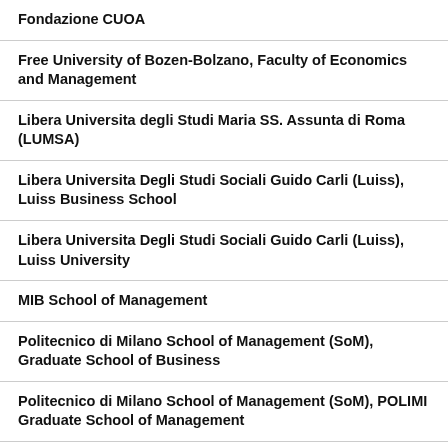Fondazione CUOA
Free University of Bozen-Bolzano, Faculty of Economics and Management
Libera Universita degli Studi Maria SS. Assunta di Roma (LUMSA)
Libera Universita Degli Studi Sociali Guido Carli (Luiss), Luiss Business School
Libera Universita Degli Studi Sociali Guido Carli (Luiss), Luiss University
MIB School of Management
Politecnico di Milano School of Management (SoM), Graduate School of Business
Politecnico di Milano School of Management (SoM), POLIMI Graduate School of Management